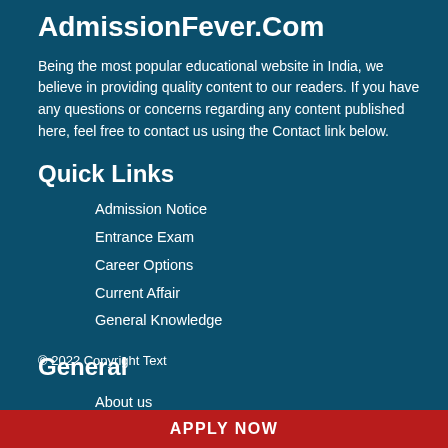AdmissionFever.Com
Being the most popular educational website in India, we believe in providing quality content to our readers. If you have any questions or concerns regarding any content published here, feel free to contact us using the Contact link below.
Quick Links
Admission Notice
Entrance Exam
Career Options
Current Affair
General Knowledge
General
About us
Privacy Policy
Terms of use
Sitemap
© 2022 Copyright Text
APPLY NOW